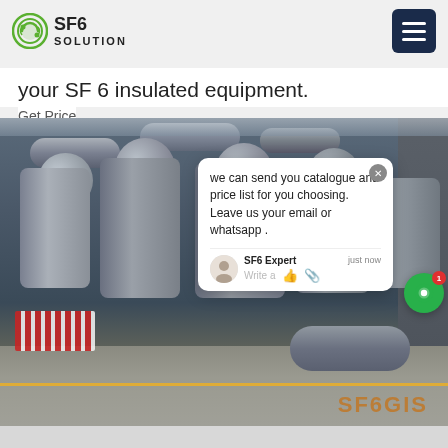SF6 SOLUTION
your SF 6 insulated equipment.
Get Price
[Figure (photo): Industrial SF6 gas insulated switchgear equipment in a power substation, showing large cylindrical vessels, pipes, and spherical components. A chat popup overlay reads: 'we can send you catalogue and price list for you choosing. Leave us your email or whatsapp.' with SF6 Expert attribution and a green chat button with notification badge showing '1'.]